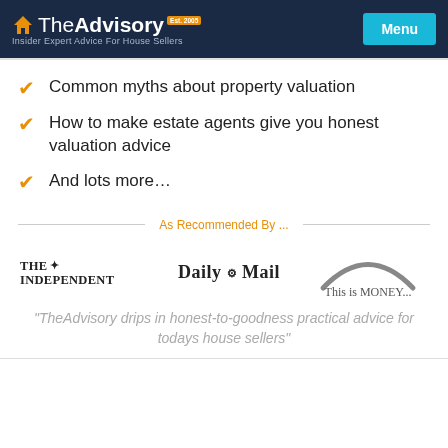The Advisory - Insider Expert Advice For House Sellers | Menu
Common myths about property valuation
How to make estate agents give you honest valuation advice
And lots more…
As Recommended By ...
[Figure (logo): The Independent newspaper logo]
[Figure (logo): Daily Mail newspaper logo]
[Figure (logo): This is Money logo with rainbow arc]
"TheAdvisory drips in honest-to-goodness practical advice for todays house sellers"